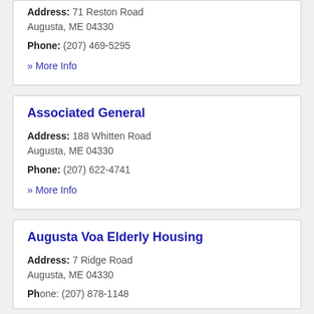Address: 71 Reston Road Augusta, ME 04330 Phone: (207) 469-5295
» More Info
Associated General
Address: 188 Whitten Road Augusta, ME 04330 Phone: (207) 622-4741
» More Info
Augusta Voa Elderly Housing
Address: 7 Ridge Road Augusta, ME 04330
Phone: (207) 878-1148